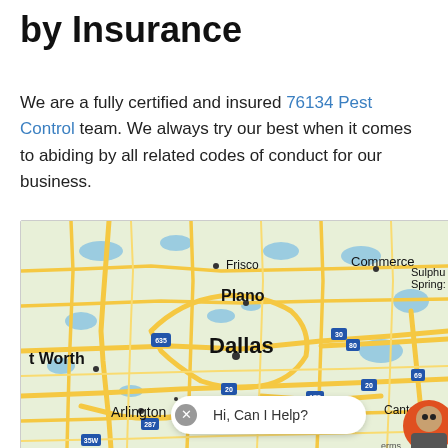by Insurance
We are a fully certified and insured 76134 Pest Control team. We always try our best when it comes to abiding by all related codes of conduct for our business.
[Figure (map): Google Maps view showing the Dallas-Fort Worth metropolitan area including cities: Frisco, Plano, Dallas, Fort Worth, Arlington, Canton, Commerce, Sulphur Springs. Highways visible include 635, 30, 80, 20, 175, 287, 35W, 69.]